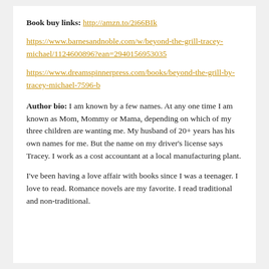Book buy links: http://amzn.to/2i66BIk
https://www.barnesandnoble.com/w/beyond-the-grill-tracey-michael/1124600896?ean=2940156953035
https://www.dreamspinnerpress.com/books/beyond-the-grill-by-tracey-michael-7596-b
Author bio: I am known by a few names. At any one time I am known as Mom, Mommy or Mama, depending on which of my three children are wanting me. My husband of 20+ years has his own names for me. But the name on my driver's license says Tracey. I work as a cost accountant at a local manufacturing plant.
I've been having a love affair with books since I was a teenager. I love to read. Romance novels are my favorite. I read traditional and non-traditional.